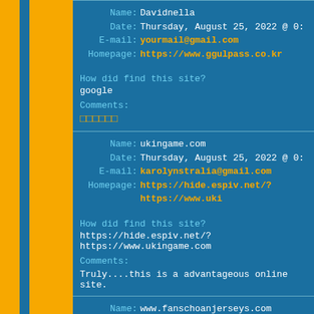Name: Davidnella
Date: Thursday, August 25, 2022 @ 0:
E-mail: yourmail@gmail.com
Homepage: https://www.ggulpass.co.kr
How did find this site?
google
Comments:
□□□□□□
Name: ukingame.com
Date: Thursday, August 25, 2022 @ 0:
E-mail: karolynstralia@gmail.com
Homepage: https://hide.espiv.net/?https://www.uki
How did find this site?
https://hide.espiv.net/?https://www.ukingame.com
Comments:
Truly....this is a advantageous online site.
Name: www.fanschoanjerseys.com